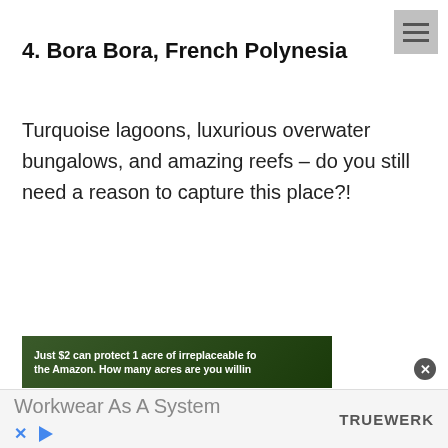4. Bora Bora, French Polynesia
Turquoise lagoons, luxurious overwater bungalows, and amazing reefs – do you still need a reason to capture this place?!
5. Santorini, Greece
[Figure (screenshot): Advertisement banner with dark green forest background. Text reads: 'Just $2 can protect 1 acre of irreplaceable fo... the Amazon. How many acres are you willin...']
[Figure (screenshot): Advertisement footer bar with text 'Workwear As A System' and brand logo 'TRUEWERK' on white/light grey background, with close X and play button icons.]